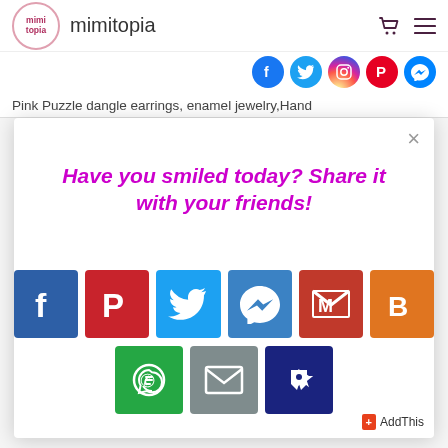[Figure (logo): Mimitopia logo circle with brand name]
[Figure (infographic): Share popup modal with social sharing buttons: Facebook, Pinterest, Twitter, Messenger, Gmail, Blogger, WhatsApp, Email, Pinterest pin]
Pink Puzzle dangle earrings, enamel jewelry,Hand
Have you smiled today? Share it with your friends!
AddThis